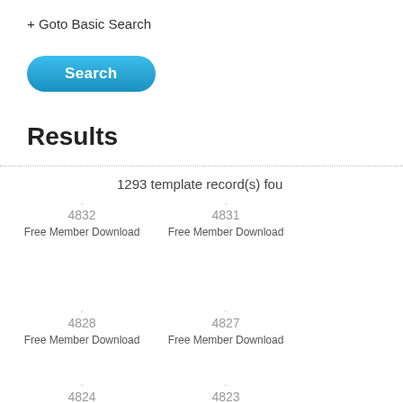+ Goto Basic Search
[Figure (screenshot): Blue Search button with rounded corners]
Results
1293 template record(s) found
4832
Free Member Download
4831
Free Member Download
4828
Free Member Download
4827
Free Member Download
4824
4823